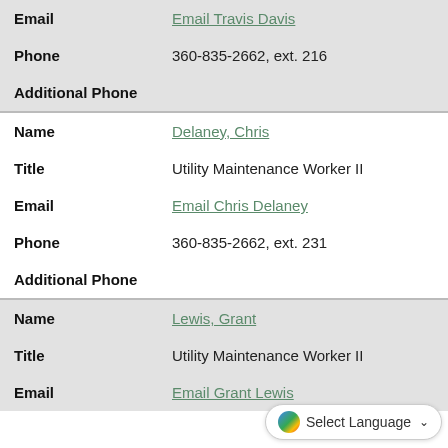| Field | Value |
| --- | --- |
| Email | Email Travis Davis |
| Phone | 360-835-2662, ext. 216 |
| Additional Phone |  |
| Name | Delaney, Chris |
| Title | Utility Maintenance Worker II |
| Email | Email Chris Delaney |
| Phone | 360-835-2662, ext. 231 |
| Additional Phone |  |
| Name | Lewis, Grant |
| Title | Utility Maintenance Worker II |
| Email | Email Grant Lewis |